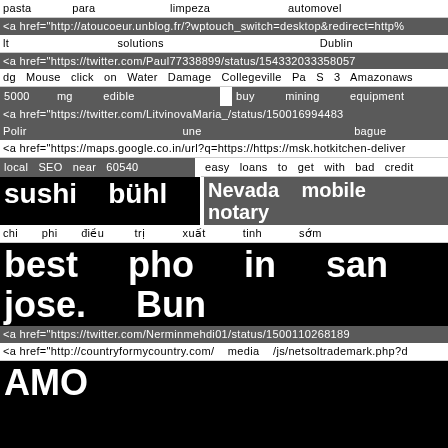pasta    para    limpeza    automovel
<a href="http://atoucoeur.unblog.fr/?wptouch_switch=desktop&redirect=http%
lt    solutions    Dublin
<a href="https://twitter.com/Paul77338899/status/154332033358057
dg  Mouse  click  on  Water  Damage  Collegeville  Pa  S  3  Amazonaws
5000    mg    edible    buy    mining    equipment
<a href="https://twitter.com/LitvinovaMaria_/status/150016994483
Polir    une    bague
<a href="https://maps.google.co.in/url?q=https://https://msk.hotkitchen-deliver
local  SEO  near  60540    easy  loans  to  get  with  bad  credit
sushi  bühl    Nevada  mobile  notary
chi    phi    điều    trị    xuất    tinh    sớm
best    pho    in    san    jose.    Bun
<a href="https://twitter.com/Nerminmehdi01/status/1500110268189
<a href="http://countryformycountry.com/    media    /js/netsoltrademark.php?d
AMO    RESIDENCE
Https://Otakuwiki.com/index.php/User:ShawnaMassey819
ภภภภภภภภภภภภภภภ    Most    haunted    places    in    America
Xtream    code
<a href="https://vk.com/wall-214308716_21">"https:
naics    code    for    wealth    management
<a href="http://avto.izmail.es/user/MiaS
flower    love
<a href="http://farbeyondsoftware.com/    media    /js/netsoltrademark.php?d=
<a href="http://bormarks.ru.com/bitrix/redirect.phpEvent1=&event2=&ev